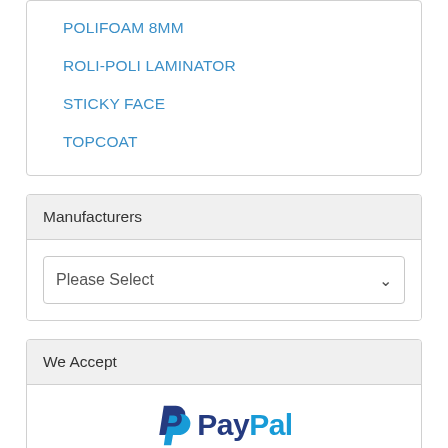POLIFOAM 8MM
ROLI-POLI LAMINATOR
STICKY FACE
TOPCOAT
Manufacturers
Please Select
We Accept
[Figure (logo): PayPal logo with blue P icon and PayPal text in blue]
[Figure (logo): VISA logo in italic blue and gold text]